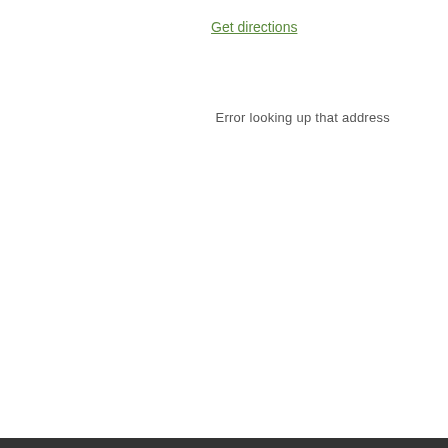Get directions
Error looking up that address